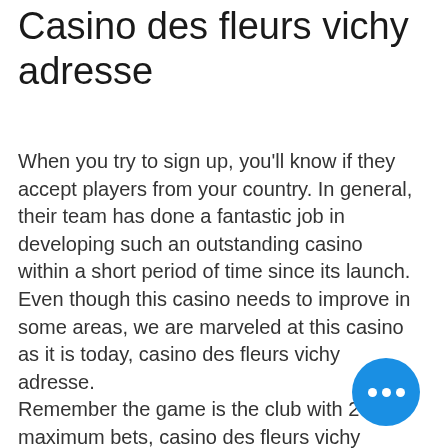Casino des fleurs vichy adresse
When you try to sign up, you'll know if they accept players from your country. In general, their team has done a fantastic job in developing such an outstanding casino within a short period of time since its launch. Even though this casino needs to improve in some areas, we are marveled at this casino as it is today, casino des fleurs vichy adresse.
Remember the game is the club with 20 maximum bets, casino des fleurs vichy adresse.
You need to complete the current tasks of the day within the allotted time in order to increase the level and improve the final reward. Before the time runs out, you need to complete as many tasks as possible. If you fail to complete the task within the allotted time, the timer will be reset, casino...